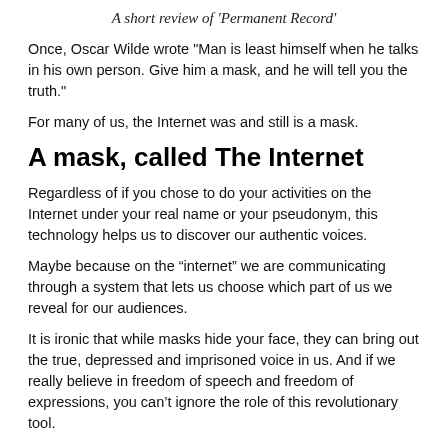A short review of 'Permanent Record'
Once, Oscar Wilde wrote "Man is least himself when he talks in his own person. Give him a mask, and he will tell you the truth."
For many of us, the Internet was and still is a mask.
A mask, called The Internet
Regardless of if you chose to do your activities on the Internet under your real name or your pseudonym, this technology helps us to discover our authentic voices.
Maybe because on the “internet” we are communicating through a system that lets us choose which part of us we reveal for our audiences.
It is ironic that while masks hide your face, they can bring out the true, depressed and imprisoned voice in us. And if we really believe in freedom of speech and freedom of expressions, you can’t ignore the role of this revolutionary tool.